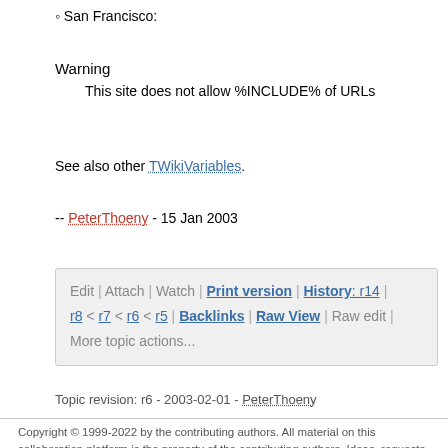San Francisco:
Warning
  This site does not allow %INCLUDE% of URLs
See also other TWikiVariables.
-- PeterThoeny - 15 Jan 2003
Edit | Attach | Watch | Print version | History: r14 | r8 < r7 < r6 < r5 | Backlinks | Raw View | Raw edit | More topic actions...
Topic revision: r6 - 2003-02-01 - PeterThoeny
Copyright © 1999-2022 by the contributing authors. All material on this collaboration platform is the property of the contributing authors. Ideas, requests, problems regarding TWiki? Send feedback Note: Please contribute updates to this topic on TWiki.org at TWiki:TWiki.IncludeTopicsAndWebPages.